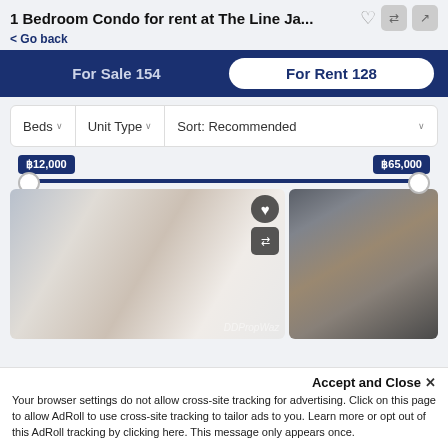1 Bedroom Condo for rent at The Line Ja...
< Go back
For Sale 154
For Rent 128
Beds ∨  Unit Type ∨  Sort: Recommended ∨
฿12,000
฿65,000
[Figure (photo): Bedroom interior of condo with bed, curtains, and bathroom view]
[Figure (photo): Kitchen counter with sink and cabinets]
Accept and Close ✕
Your browser settings do not allow cross-site tracking for advertising. Click on this page to allow AdRoll to use cross-site tracking to tailor ads to you. Learn more or opt out of this AdRoll tracking by clicking here. This message only appears once.